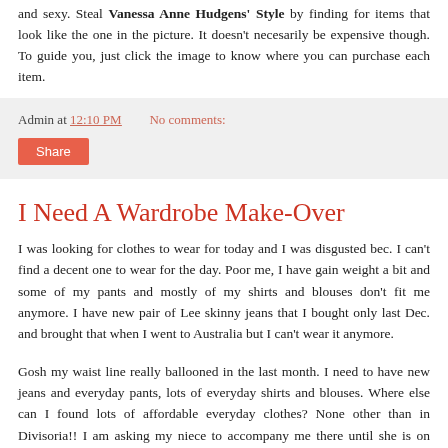and sexy. Steal Vanessa Anne Hudgens' Style by finding for items that look like the one in the picture. It doesn't necesarily be expensive though. To guide you, just click the image to know where you can purchase each item.
Admin at 12:10 PM   No comments:
Share
I Need A Wardrobe Make-Over
I was looking for clothes to wear for today and I was disgusted bec. I can't find a decent one to wear for the day. Poor me, I have gain weight a bit and some of my pants and mostly of my shirts and blouses don't fit me anymore. I have new pair of Lee skinny jeans that I bought only last Dec. and brought that when I went to Australia but I can't wear it anymore.
Gosh my waist line really ballooned in the last month. I need to have new jeans and everyday pants, lots of everyday shirts and blouses. Where else can I found lots of affordable everyday clothes? None other than in Divisoria!! I am asking my niece to accompany me there until she is on sem. break. I hope I can get